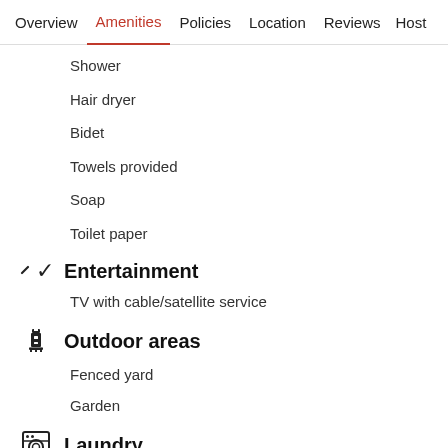Overview  Amenities  Policies  Location  Reviews  Host
Shower
Hair dryer
Bidet
Towels provided
Soap
Toilet paper
Entertainment
TV with cable/satellite service
Outdoor areas
Fenced yard
Garden
Laundry
Washing machine and dryer